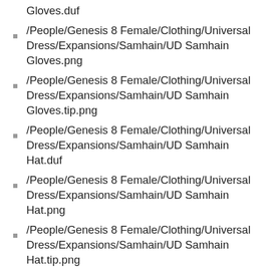Gloves.duf
/People/Genesis 8 Female/Clothing/Universal Dress/Expansions/Samhain/UD Samhain Gloves.png
/People/Genesis 8 Female/Clothing/Universal Dress/Expansions/Samhain/UD Samhain Gloves.tip.png
/People/Genesis 8 Female/Clothing/Universal Dress/Expansions/Samhain/UD Samhain Hat.duf
/People/Genesis 8 Female/Clothing/Universal Dress/Expansions/Samhain/UD Samhain Hat.png
/People/Genesis 8 Female/Clothing/Universal Dress/Expansions/Samhain/UD Samhain Hat.tip.png
/People/Genesis 8 Female/Clothing/Universal Dress/Expansions/Samhain/UD Samhain Necklace.duf
/People/Genesis 8 Female/Clothing/Universal Dress/Expansions/Samhain/UD Samhain